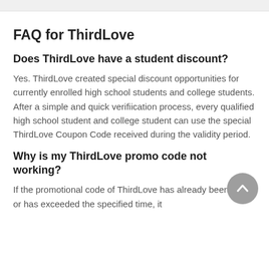FAQ for ThirdLove
Does ThirdLove have a student discount?
Yes. ThirdLove created special discount opportunities for currently enrolled high school students and college students. After a simple and quick verifiication process, every qualified high school student and college student can use the special ThirdLove Coupon Code received during the validity period.
Why is my ThirdLove promo code not working?
If the promotional code of ThirdLove has already been used, or has exceeded the specified time, it